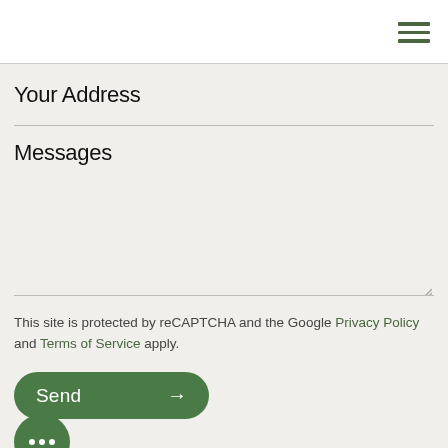Your Address
Messages
This site is protected by reCAPTCHA and the Google Privacy Policy and Terms of Service apply.
Send →